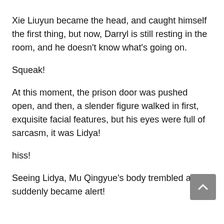Xie Liuyun became the head, and caught himself the first thing, but now, Darryl is still resting in the room, and he doesn't know what's going on.
Squeak!
At this moment, the prison door was pushed open, and then, a slender figure walked in first, exquisite facial features, but his eyes were full of sarcasm, it was Lidya!
hiss!
Seeing Lidya, Mu Qingyue's body trembled and suddenly became alert!
...